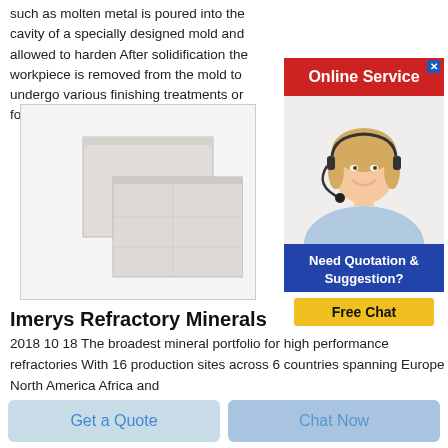such as molten metal is poured into the cavity of a specially designed mold and allowed to harden After solidification the workpiece is removed from the mold to undergo various finishing treatments or for use as a final product
[Figure (photo): Two white refractory ceramic blocks, stacked/offset, light grey-white color, on white background, inside a bordered box]
[Figure (illustration): Online Service advertisement banner: red header with 'Online Service' text and close button, photo of smiling woman with headset, dark blue footer with 'Need Quotation & Suggestion?', yellow 'Free Chat' button]
Imerys Refractory Minerals
2018 10 18 The broadest mineral portfolio for high performance refractories With 16 production sites across 6 countries spanning Europe North America Africa and
Get a Quote
Chat Now